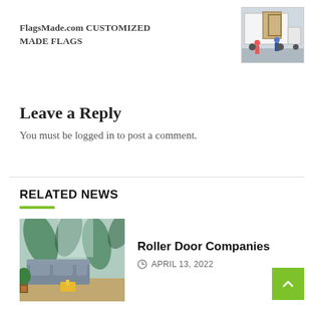[Figure (infographic): Ad banner for FlagsMade.com showing bold text and a thumbnail photo of workers unloading large frames from a truck]
Leave a Reply
You must be logged in to post a comment.
RELATED NEWS
[Figure (photo): Interior living room scene with tropical leaf wallpaper, grey sofa, plants, and a yellow side table]
Roller Door Companies
APRIL 13, 2022